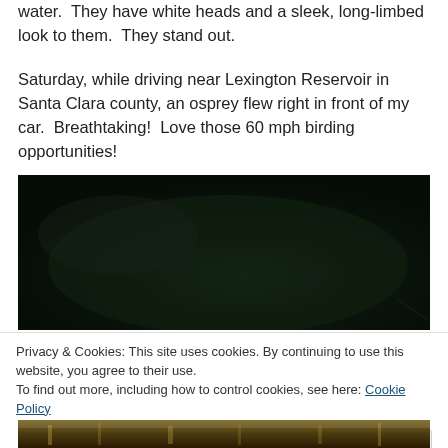water.  They have white heads and a sleek, long-limbed look to them.  They stand out.
Saturday, while driving near Lexington Reservoir in Santa Clara county, an osprey flew right in front of my car.  Breathtaking!  Love those 60 mph birding opportunities!
[Figure (photo): Dark photograph, mostly black and very dark green, appears to be a body of water or foliage at night]
Privacy & Cookies: This site uses cookies. By continuing to use this website, you agree to their use.
To find out more, including how to control cookies, see here: Cookie Policy
[Figure (photo): Bottom strip of a photograph showing what appears to be golden-brown grasses or reeds]